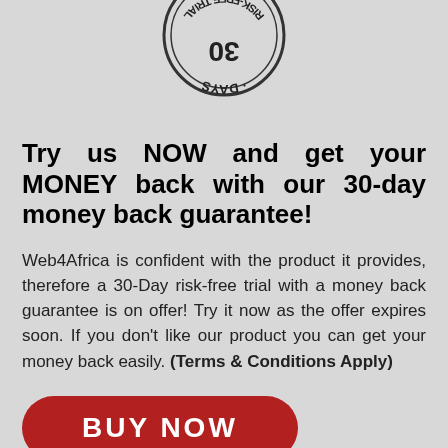[Figure (logo): Circular stamp badge with text '30 DAYS RISK-FREE TRIAL' shown upside down at the top of the page]
Try us NOW and get your MONEY back with our 30-day money back guarantee!
Web4Africa is confident with the product it provides, therefore a 30-Day risk-free trial with a money back guarantee is on offer! Try it now as the offer expires soon. If you don't like our product you can get your money back easily. (Terms & Conditions Apply)
BUY NOW